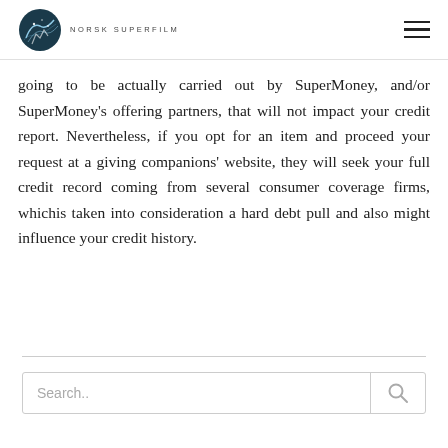NORSK SUPERFILM
going to be actually carried out by SuperMoney, and/or SuperMoney's offering partners, that will not impact your credit report. Nevertheless, if you opt for an item and proceed your request at a giving companions' website, they will seek your full credit record coming from several consumer coverage firms, whichis taken into consideration a hard debt pull and also might influence your credit history.